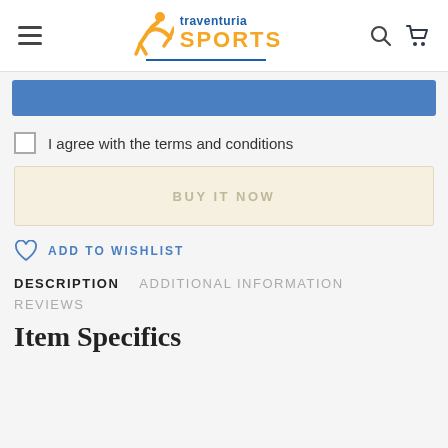traventuria SPORTS
I agree with the terms and conditions
BUY IT NOW
ADD TO WISHLIST
DESCRIPTION   ADDITIONAL INFORMATION   REVIEWS
Item Specifics